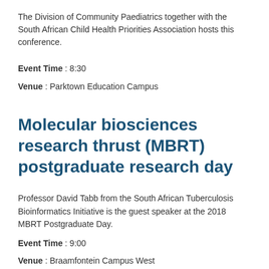The Division of Community Paediatrics together with the South African Child Health Priorities Association hosts this conference.
Event Time : 8:30
Venue : Parktown Education Campus
Molecular biosciences research thrust (MBRT) postgraduate research day
Professor David Tabb from the South African Tuberculosis Bioinformatics Initiative is the guest speaker at the 2018 MBRT Postgraduate Day.
Event Time : 9:00
Venue : Braamfontein Campus West